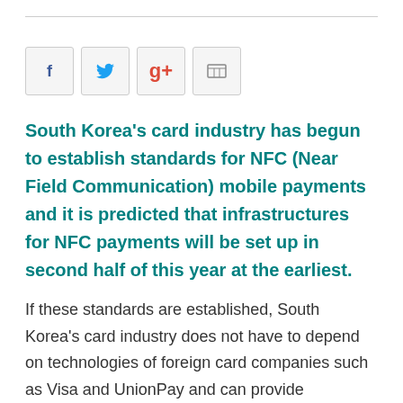[Figure (other): Social media share buttons: Facebook, Twitter, Google+, and a grid/share icon]
South Korea's card industry has begun to establish standards for NFC (Near Field Communication) mobile payments and it is predicted that infrastructures for NFC payments will be set up in second half of this year at the earliest.
If these standards are established, South Korea's card industry does not have to depend on technologies of foreign card companies such as Visa and UnionPay and can provide inexpensive